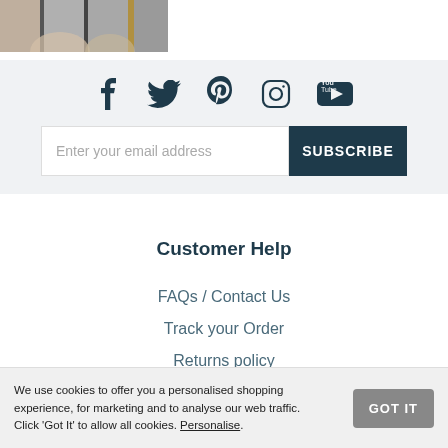[Figure (photo): Partial cropped image of a person, appears to be fashion/retail context, grayscale and tan tones with vertical stripe]
[Figure (infographic): Social media icons row: Facebook, Twitter, Pinterest, Instagram, YouTube on light gray background]
Enter your email address
SUBSCRIBE
Customer Help
FAQs / Contact Us
Track your Order
Returns policy
We use cookies to offer you a personalised shopping experience, for marketing and to analyse our web traffic. Click ‘Got It’ to allow all cookies. Personalise.
GOT IT